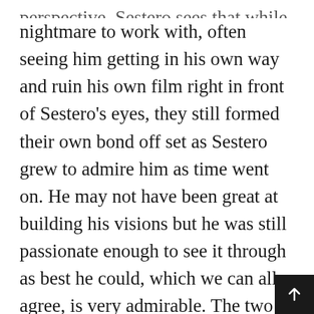perspective. Sestero sees that while Wiseau was a nightmare to work with, often seeing him getting in his own way and ruin his own film right in front of Sestero's eyes, they still formed their own bond off set as Sestero grew to admire him as time went on. He may not have been great at building his visions but he was still passionate enough to see it through as best he could, which we can all agree, is very admirable. The two would work together in future projects, notably the film Best F(r)iends released after The Disaster Artist book. A nice way to show that Wiseau held no grudge against Sestero for writing the book and shining negative lights on The Room, which Wiseau has shown to still be